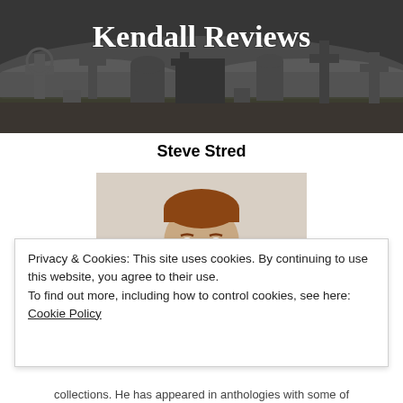[Figure (illustration): Kendall Reviews website banner — black and white graveyard scene with crosses and tombstones in fog, with white serif bold text 'Kendall Reviews' overlaid in the center-upper area]
Steve Stred
[Figure (photo): Headshot photo of Steve Stred, a man with reddish-brown hair and beard, wearing a dark shirt, against a light background]
Privacy & Cookies: This site uses cookies. By continuing to use this website, you agree to their use.
To find out more, including how to control cookies, see here: Cookie Policy
Close and accept
collections. He has appeared in anthologies with some of